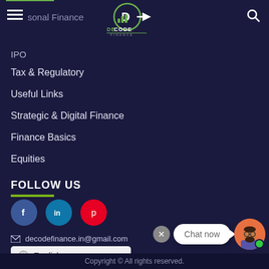DECODE FINANCE — navigation header with logo and hamburger menu
sonal Finance
IPO
Tax & Regulatory
Useful Links
Strategic & Digital Finance
Finance Basics
Equities
FOLLOW US
[Figure (logo): Social media icons: Facebook (blue circle with f), LinkedIn (teal circle with in), Pinterest (red circle with p)]
decodefinance.in@gmail.com
English (language selector dropdown)
[Figure (other): Chat now widget with close button, speech bubble saying Chat now, and avatar with green online indicator]
Copyright © All rights reserved.